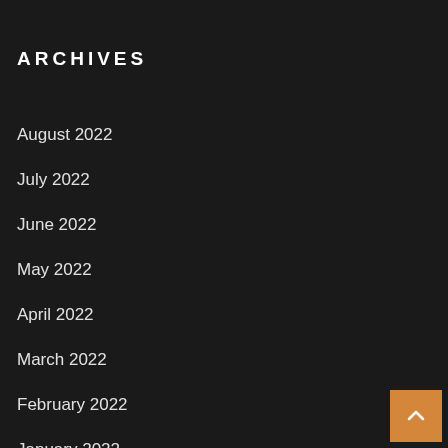ARCHIVES
August 2022
July 2022
June 2022
May 2022
April 2022
March 2022
February 2022
January 2022
December 2021
November 2021